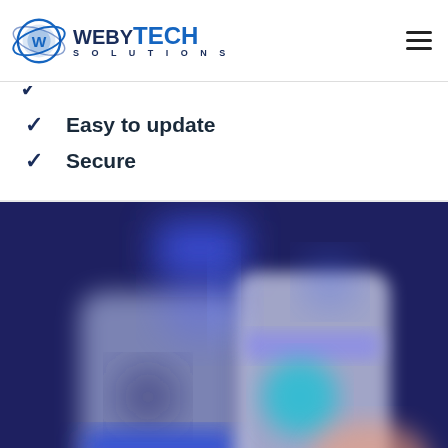[Figure (logo): WebyTech Solutions logo with globe icon and company name]
Easy to update
Secure
[Figure (illustration): Blurred dark navy background with glowing blue phone/app UI elements illustration]